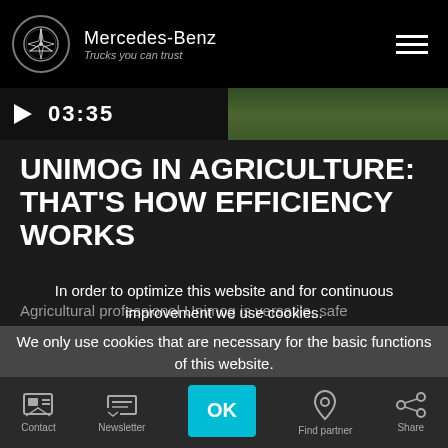Mercedes-Benz — Trucks you can trust
[Figure (screenshot): Video thumbnail strip with play button and timecode 03:35, background shows green field/agricultural scene]
UNIMOG IN AGRICULTURE: THAT'S HOW EFFICIENCY WORKS
Agricultural professional Unimog is versatile, safe
In order to optimize this website and for continuous improvement we use cookies.
We only use cookies that are necessary for the basic functions of this website.
For more information, please refer to our Cookie Statement.
Contact | Newsletter | OK | Find partner | Share